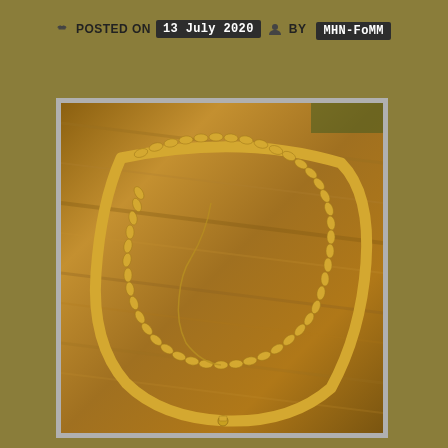POSTED ON 13 July 2020 BY MHN-FoMM
[Figure (photo): Gold curb chain necklace and a thin chain laid out on a wooden table surface, photographed from above.]